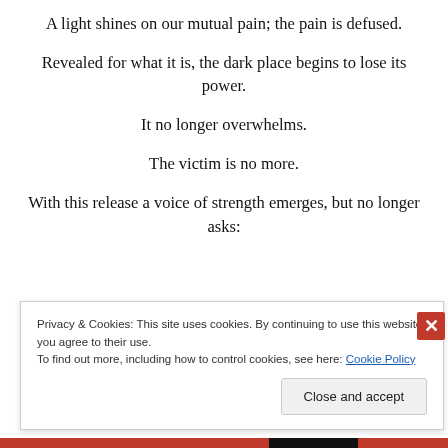A light shines on our mutual pain; the pain is defused.
Revealed for what it is, the dark place begins to lose its power.
It no longer overwhelms.
The victim is no more.
With this release a voice of strength emerges, but no longer asks:
Privacy & Cookies: This site uses cookies. By continuing to use this website, you agree to their use.
To find out more, including how to control cookies, see here: Cookie Policy